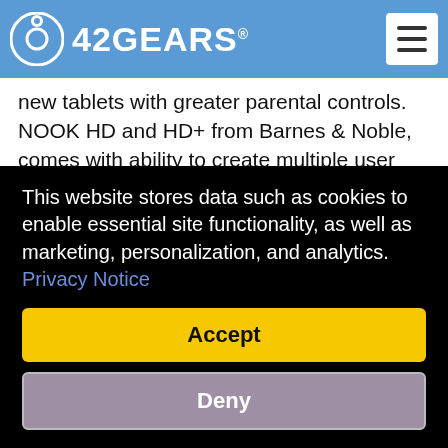42GEARS
new tablets with greater parental controls. NOOK HD and HD+ from Barnes & Noble, comes with ability to create multiple user profiles, which allow parents to select the apps, websites and media content which their kids can access. Amazon's Kindle Free Time, for the Kindle fire, does much of the same and let's parents set daily time limits for their children's use. Apple's iPad and iPad mini both include a suite of restrictions in the settings, parent can select which apps the child can open, and what kind of content they can
This website stores data such as cookies to enable essential site functionality, as well as marketing, personalization, and analytics. Privacy Notice
Accept
Deny